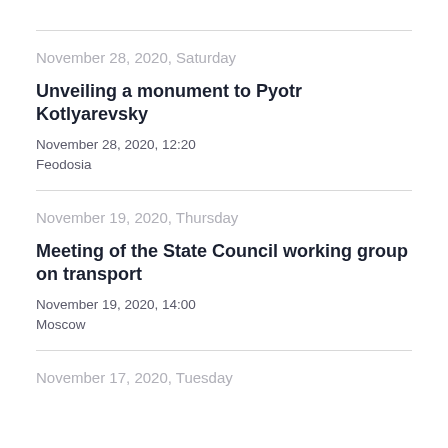November 28, 2020, Saturday
Unveiling a monument to Pyotr Kotlyarevsky
November 28, 2020, 12:20
Feodosia
November 19, 2020, Thursday
Meeting of the State Council working group on transport
November 19, 2020, 14:00
Moscow
November 17, 2020, Tuesday